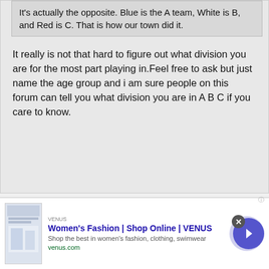It's actually the opposite. Blue is the A team, White is B, and Red is C. That is how our town did it.
It really is not that hard to figure out what division you are for the most part playing in.Feel free to ask but just name the age group and i am sure people on this forum can tell you what division you are in A B C if you care to know.
Sorry you would need to give a team and what age and I am sure you can figure it out.6th grade level teams like middle country red, Riverhead red, rocky point, mount Sinai are in A division ,all you need to do is then look at the teams they are playing and you can figure it out.Teams like WH, North Fork, east Hampton etc. In B.
[Figure (other): Advertisement banner for Women's Fashion | Shop Online | VENUS. Shows a fashion website screenshot thumbnail, ad title 'Women's Fashion | Shop Online | VENUS', description 'Shop the best in women's fashion, clothing, swimwear', URL 'venus.com', with a close button (x) and a forward arrow button.]